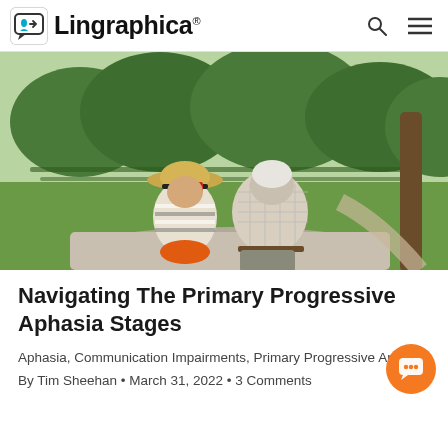Lingraphica®
[Figure (photo): Two elderly people sitting side by side outdoors on a stone surface, viewed from behind. One wears a straw hat with a red ribbon and a striped shirt with orange accessories; the other wears a light checkered shirt and grey/khaki pants. Green vineyard and wooded hillside in background.]
Navigating The Primary Progressive Aphasia Stages
Aphasia, Communication Impairments, Primary Progressive Aphasia
By Tim Sheehan • March 31, 2022 • 3 Comments